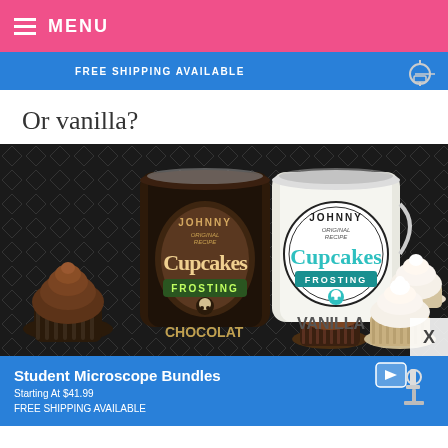≡ MENU
[Figure (screenshot): Blue advertisement banner with text FREE SHIPPING AVAILABLE and microscope image]
Or vanilla?
[Figure (photo): Photo of two Johnny Cupcakes Frosting cans (Chocolate and Vanilla) surrounded by chocolate and vanilla cupcakes on a black and white patterned background]
[Figure (screenshot): Blue advertisement banner for Student Microscope Bundles, Starting At $41.99, FREE SHIPPING AVAILABLE]